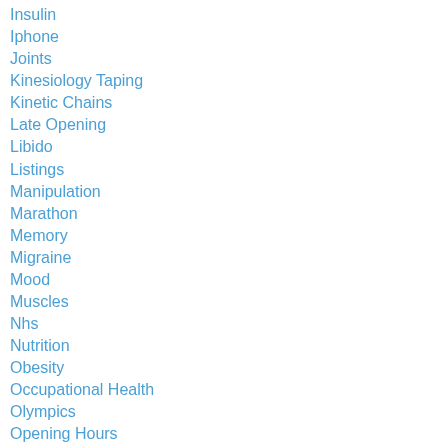Insulin
Iphone
Joints
Kinesiology Taping
Kinetic Chains
Late Opening
Libido
Listings
Manipulation
Marathon
Memory
Migraine
Mood
Muscles
Nhs
Nutrition
Obesity
Occupational Health
Olympics
Opening Hours